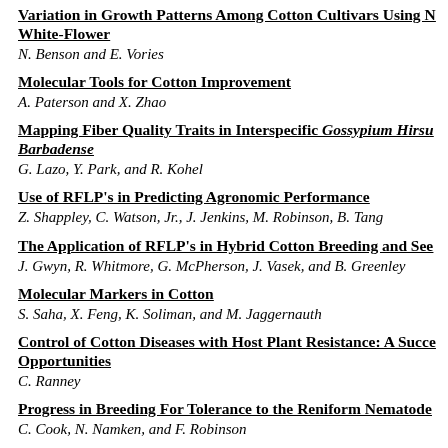Variation in Growth Patterns Among Cotton Cultivars Using N White-Flower
N. Benson and E. Vories
Molecular Tools for Cotton Improvement
A. Paterson and X. Zhao
Mapping Fiber Quality Traits in Interspecific Gossypium Hirsu Barbadense
G. Lazo, Y. Park, and R. Kohel
Use of RFLP's in Predicting Agronomic Performance
Z. Shappley, C. Watson, Jr., J. Jenkins, M. Robinson, B. Tang
The Application of RFLP's in Hybrid Cotton Breeding and See
J. Gwyn, R. Whitmore, G. McPherson, J. Vasek, and B. Greenley
Molecular Markers in Cotton
S. Saha, X. Feng, K. Soliman, and M. Jaggernauth
Control of Cotton Diseases with Host Plant Resistance: A Succe Opportunities
C. Ranney
Progress in Breeding For Tolerance to the Reniform Nematode
C. Cook, N. Namken, and F. Robinson
Complications in Breeding for Incompatibility